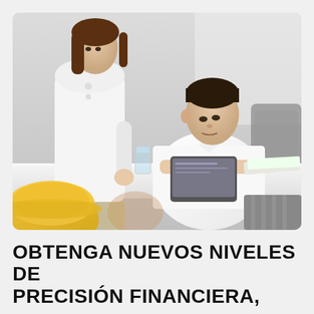[Figure (photo): Two people in a professional office setting. A man in a white dress shirt is seated, looking at a tablet device. A woman in a white blouse stands beside him. A yellow hard hat is visible in the foreground. A glass of water and blueprints are on the table.]
OBTENGA NUEVOS NIVELES DE PRECISIÓN FINANCIERA,